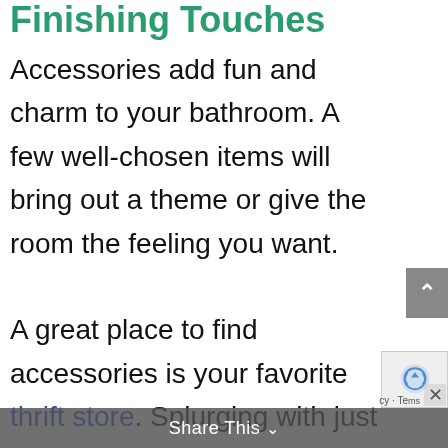Finishing Touches
Accessories add fun and charm to your bathroom. A few well-chosen items will bring out a theme or give the room the feeling you want.

A great place to find accessories is your favorite thrift store. Splurging with just $20 will go far here. You can find like-new items for a fraction of the cost of those pricey specialty stores. Do not follow your will
Share This